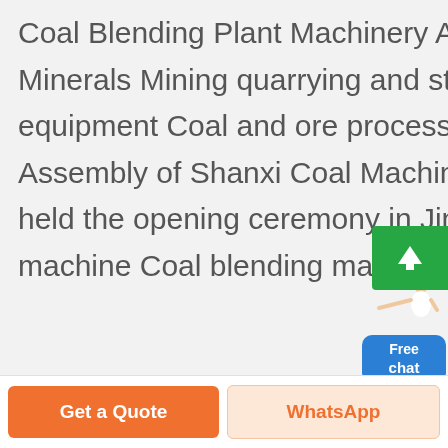Coal Blending Plant Machinery And Equipment. Back to list. Minerals Mining quarrying and stoneworking plant and equipment Coal and ore processing plant and equipment Assembly of Shanxi Coal Machinery amp Equipment Co. Ltd. held the opening ceremony in Jinhong City Coal blending machine Coal blending machine. .
[Figure (other): Customer service chat widget with a person figure and a blue Free chat button]
[Figure (other): Green scroll-to-top button with white upward arrow]
Get a Quote
WhatsApp